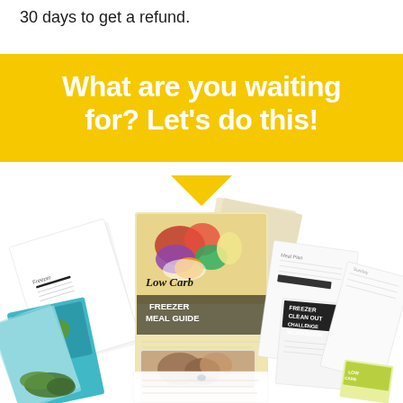30 days to get a refund.
What are you waiting for? Let's do this!
[Figure (photo): A collage of multiple booklets and guides fanned out including a 'Low Carb Freezer Meal Guide', 'Freezer Clean Out Challenge Workbook', side dish guides, meal plan sheets, and other cooking/freezer meal related workbooks and printables.]